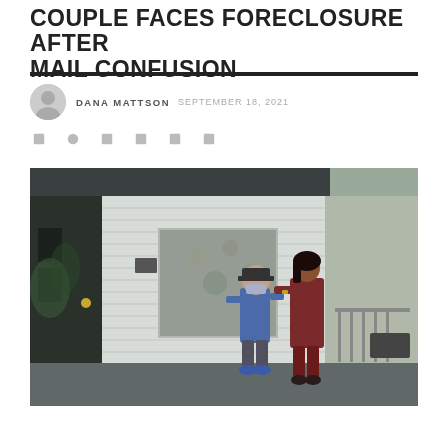COUPLE FACES FORECLOSURE AFTER MAIL CONFUSION
DANA MATTSON  SEPTEMBER 18, 2021
[Figure (photo): Two people standing on a home porch — an older man in a blue shirt and cap with a face mask, and a woman in dark red/maroon outfit, appearing to be in conversation outside the front door of a white clapboard house.]